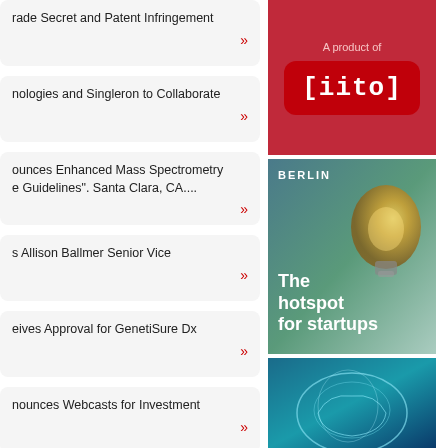rade Secret and Patent Infringement »
nologies and Singleron to Collaborate »
ounces Enhanced Mass Spectrometry e Guidelines". Santa Clara, CA.... »
s Allison Ballmer Senior Vice »
eives Approval for GenetiSure Dx »
nounces Webcasts for Investment »
[Figure (logo): A product of [iito] logo on red background]
[Figure (photo): BERLIN - The hotspot for startups. Light bulb image with text overlay.]
[Figure (photo): Brain scan image - partial, cut off at bottom]